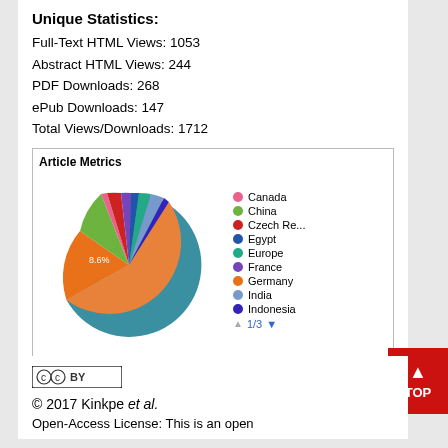Unique Statistics:
Full-Text HTML Views: 1053
Abstract HTML Views: 244
PDF Downloads: 268
ePub Downloads: 147
Total Views/Downloads: 1712
[Figure (pie-chart): Article Metrics]
[Figure (logo): Creative Commons CC BY license badge]
© 2017 Kinkpe et al.
Open-Access License: This is an open